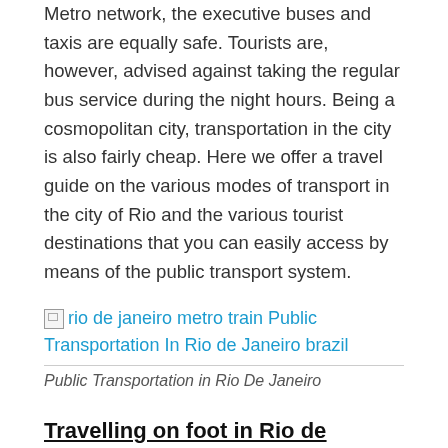Metro network, the executive buses and taxis are equally safe. Tourists are, however, advised against taking the regular bus service during the night hours. Being a cosmopolitan city, transportation in the city is also fairly cheap. Here we offer a travel guide on the various modes of transport in the city of Rio and the various tourist destinations that you can easily access by means of the public transport system.
[Figure (photo): Broken image placeholder with link text: rio de janeiro metro train Public Transportation In Rio de Janeiro brazil]
Public Transportation in Rio De Janeiro
Travelling on foot in Rio de Janeiro
If you are in the Zona Sul, Lapa, Centro or Santa Teresa neighbourhoods, you will find it a pleasure to walk around